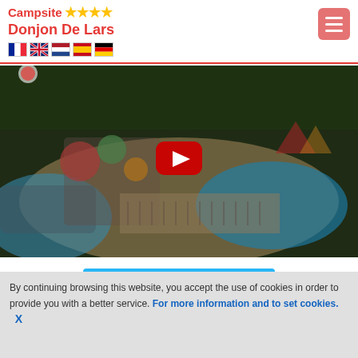Campsite ★★★★ Donjon De Lars
[Figure (screenshot): Aerial view of a campsite water park with pools, slides, and lounge chairs, shown as a YouTube video thumbnail with a red play button in the center.]
Click here to make a booking
By continuing browsing this website, you accept the use of cookies in order to provide you with a better service. For more information and to set cookies.  X